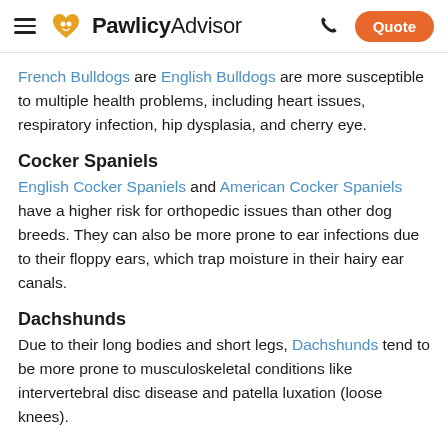PawlicyAdvisor — Quote
French Bulldogs are English Bulldogs are more susceptible to multiple health problems, including heart issues, respiratory infection, hip dysplasia, and cherry eye.
Cocker Spaniels
English Cocker Spaniels and American Cocker Spaniels have a higher risk for orthopedic issues than other dog breeds. They can also be more prone to ear infections due to their floppy ears, which trap moisture in their hairy ear canals.
Dachshunds
Due to their long bodies and short legs, Dachshunds tend to be more prone to musculoskeletal conditions like intervertebral disc disease and patella luxation (loose knees).